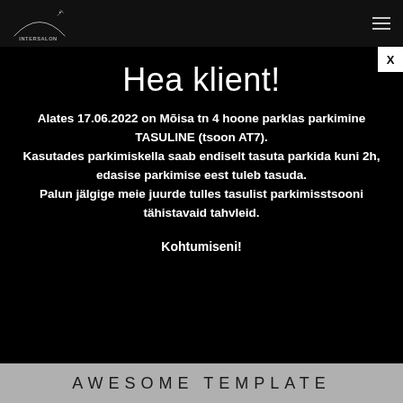INTERSALON (logo)
Hea klient!
Alates 17.06.2022 on Mõisa tn 4 hoone parklas parkimine TASULINE (tsoon AT7). Kasutades parkimiskella saab endiselt tasuta parkida kuni 2h, edasise parkimise eest tuleb tasuda. Palun jälgige meie juurde tulles tasulist parkimisstsooni tähistavaid tahvleid.
Kohtumiseni!
AWESOME TEMPLATE